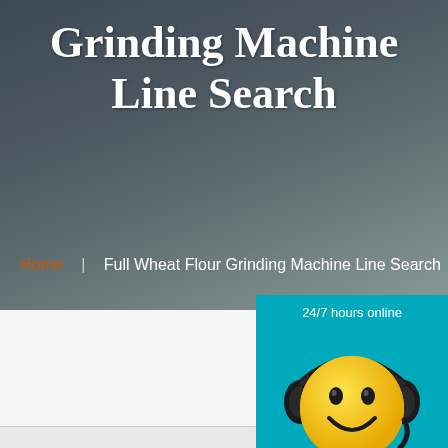Grinding Machine Line Search
Home | Full Wheat Flour Grinding Machine Line Search
[Figure (illustration): Yellow smiley face emoji wearing black headphones with microphone, customer service mascot on teal background]
24/7 hours online
Click me to chat >>
Enquiry
superbrian707@gr